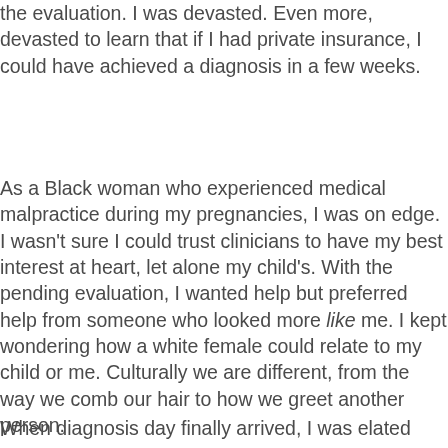the evaluation. I was devasted. Even more, devasted to learn that if I had private insurance, I could have achieved a diagnosis in a few weeks.
As a Black woman who experienced medical malpractice during my pregnancies, I was on edge. I wasn't sure I could trust clinicians to have my best interest at heart, let alone my child's. With the pending evaluation, I wanted help but preferred help from someone who looked more like me. I kept wondering how a white female could relate to my child or me. Culturally we are different, from the way we comb our hair to how we greet another person.
When diagnosis day finally arrived, I was elated